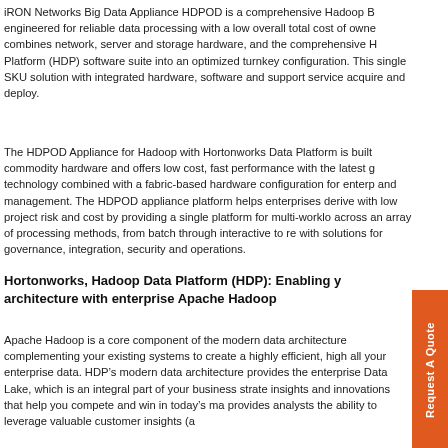iRON Networks Big Data Appliance HDPOD is a comprehensive Hadoop B... engineered for reliable data processing with a low overall total cost of owne... combines network, server and storage hardware, and the comprehensive H... Platform (HDP) software suite into an optimized turnkey configuration. This single SKU solution with integrated hardware, software and support service... acquire and deploy.
The HDPOD Appliance for Hadoop with Hortonworks Data Platform is built commodity hardware and offers low cost, fast performance with the latest g... technology combined with a fabric-based hardware configuration for enterp... and management. The HDPOD appliance platform helps enterprises derive... with low project risk and cost by providing a single platform for multi-worklo... across an array of processing methods, from batch through interactive to re... with solutions for governance, integration, security and operations.
Hortonworks, Hadoop Data Platform (HDP): Enabling y... architecture with enterprise Apache Hadoop
Apache Hadoop is a core component of the modern data architecture complementing your existing systems to create a highly efficient, high... all your enterprise data. HDP's modern data architecture provides the enterprise Data Lake, which is an integral part of your business strate... insights and innovations that help you compete and win in today's ma... provides analysts the ability to leverage valuable customer insights (a...
[Figure (other): Orange vertical sidebar button with text 'Request A Quote' rotated vertically]